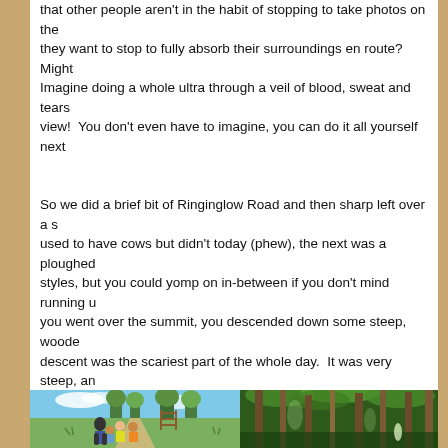that other people aren't in the habit of stopping to take photos on the they want to stop to fully absorb their surroundings en route?  Might Imagine doing a whole ultra through a veil of blood, sweat and tears view!  You don't even have to imagine, you can do it all yourself next
So we did a brief bit of Ringinglow Road and then sharp left over a s used to have cows but didn't today (phew), the next was a ploughed styles, but you could yomp on in-between if you don't mind running u you went over the summit, you descended down some steep, woode descent was the scariest part of the whole day.  It was very steep, a for part of the way down, and then picked my way down watching the distance.
[Figure (photo): Hikers walking along a grassy trail towards a wooden gate, with trees and blue sky in the background]
[Figure (photo): Dense woodland with tall trees, green forest interior]